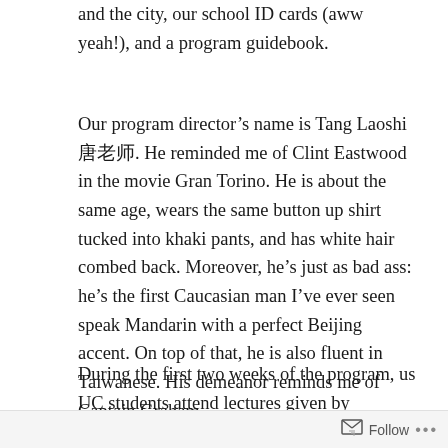and the city, our school ID cards (aww yeah!), and a program guidebook.
Our program director's name is Tang Laoshi 唐老师. He reminded me of Clint Eastwood in the movie Gran Torino. He is about the same age, wears the same button up shirt tucked into khaki pants, and has white hair combed back. Moreover, he's just as bad ass: he's the first Caucasian man I've ever seen speak Mandarin with a perfect Beijing accent. On top of that, he is also fluent in Taiwanese. His demeanor reminds me of Captain Graham.
During the first two weeks of the program, us UC students attend lectures given by professors about
Follow